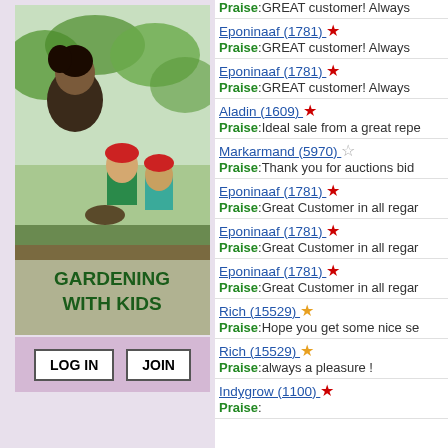[Figure (photo): Photo of adult and children gardening outdoors with green plants, overlaid with text GARDENING WITH KIDS]
LOG IN  JOIN
Eponinaaf (1781) ★ Praise:GREAT customer! Always
Eponinaaf (1781) ★ Praise:GREAT customer! Always
Aladin (1609) ★ Praise:Ideal sale from a great repe
Markarmand (5970) ☆ Praise:Thank you for auctions bid
Eponinaaf (1781) ★ Praise:Great Customer in all regar
Eponinaaf (1781) ★ Praise:Great Customer in all regar
Eponinaaf (1781) ★ Praise:Great Customer in all regar
Rich (15529) ★ Praise:Hope you get some nice se
Rich (15529) ★ Praise:always a pleasure !
Indygrow (1100) ★ Praise:...